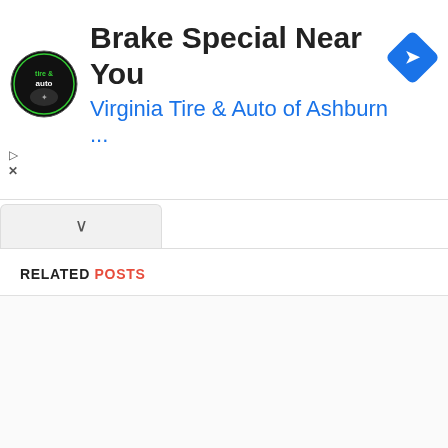[Figure (screenshot): Advertisement banner for Virginia Tire & Auto of Ashburn with logo, headline 'Brake Special Near You', blue navigation arrow icon, and ad controls.]
RELATED POSTS
[Figure (photo): Faded/blurred photograph of a person lying on a blue exercise mat in what appears to be a gym or fitness setting.]